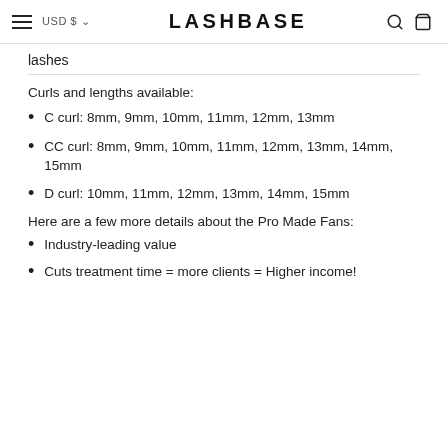LASHBASE
lashes
Curls and lengths available:
C curl: 8mm, 9mm, 10mm, 11mm, 12mm, 13mm
CC curl: 8mm, 9mm, 10mm, 11mm, 12mm, 13mm, 14mm, 15mm
D curl: 10mm, 11mm, 12mm, 13mm, 14mm, 15mm
Here are a few more details about the Pro Made Fans:
Industry-leading value
Cuts treatment time = more clients = Higher income!